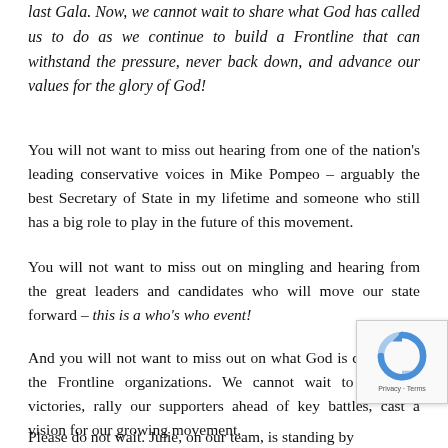last Gala. Now, we cannot wait to share what God has called us to do as we continue to build a Frontline that can withstand the pressure, never back down, and advance our values for the glory of God!
You will not want to miss out hearing from one of the nation's leading conservative voices in Mike Pompeo – arguably the best Secretary of State in my lifetime and someone who still has a big role to play in the future of this movement.
You will not want to miss out on mingling and hearing from the great leaders and candidates who will move our state forward – this is a who's who event!
And you will not want to miss out on what God is doing with the Frontline organizations. We cannot wait to celebrate victories, rally our supporters ahead of key battles, cast a vision for our growing movement.
Please do not wait. Julie, on our team, is standing by